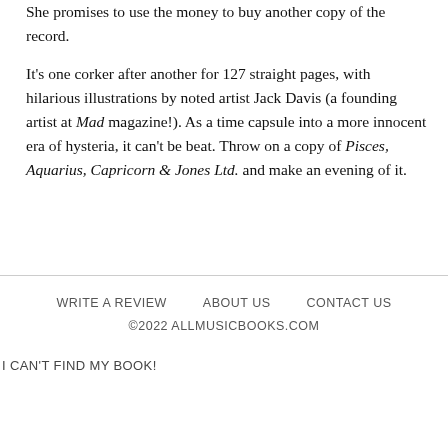that I be punished just for being such a Monkee lover. She promises to use the money to buy another copy of the record.

It's one corker after another for 127 straight pages, with hilarious illustrations by noted artist Jack Davis (a founding artist at Mad magazine!). As a time capsule into a more innocent era of hysteria, it can't be beat. Throw on a copy of Pisces, Aquarius, Capricorn & Jones Ltd. and make an evening of it.
WRITE A REVIEW   ABOUT US   CONTACT US
©2022 ALLMUSICBOOKS.COM
I CAN'T FIND MY BOOK!